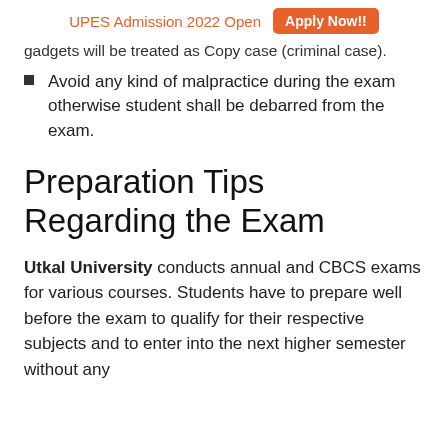UPES Admission 2022 Open   Apply Now!!
gadgets will be treated as Copy case (criminal case).
Avoid any kind of malpractice during the exam otherwise student shall be debarred from the exam.
Preparation Tips Regarding the Exam
Utkal University conducts annual and CBCS exams for various courses. Students have to prepare well before the exam to qualify for their respective subjects and to enter into the next higher semester without any